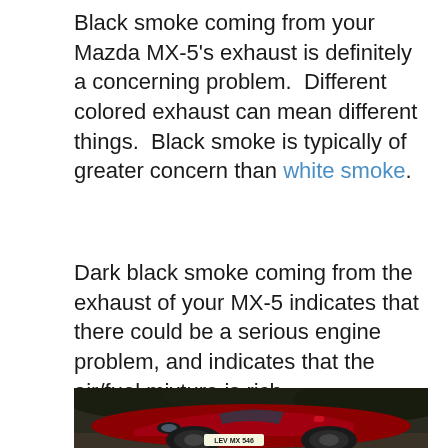Black smoke coming from your Mazda MX-5's exhaust is definitely a concerning problem.  Different colored exhaust can mean different things.  Black smoke is typically of greater concern than white smoke.
Dark black smoke coming from the exhaust of your MX-5 indicates that there could be a serious engine problem, and indicates that the air/fuel mixture is rich.
[Figure (photo): A red Mazda MX-5 Miata convertible sports car photographed from the front-left angle, with license plate reading LEV MX 546, against a dark foliage background.]